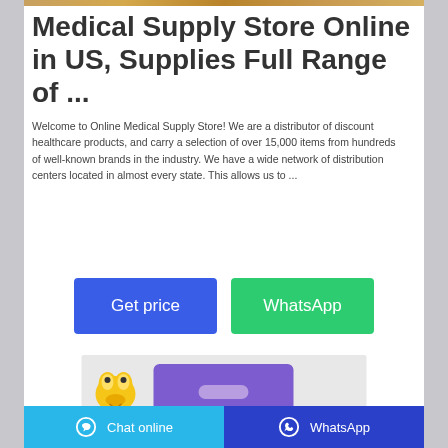[Figure (photo): Thin decorative image bar at the top of the page with warm golden/brown tones]
Medical Supply Store Online in US, Supplies Full Range of ...
Welcome to Online Medical Supply Store! We are a distributor of discount healthcare products, and carry a selection of over 15,000 items from hundreds of well-known brands in the industry. We have a wide network of distribution centers located in almost every state. This allows us to ...
[Figure (screenshot): Two buttons side by side: a blue 'Get price' button and a green 'WhatsApp' button]
[Figure (screenshot): Thumbnail image showing BuBu logo (yellow cartoon character) next to a purple box on a light gray background]
Chat online   WhatsApp